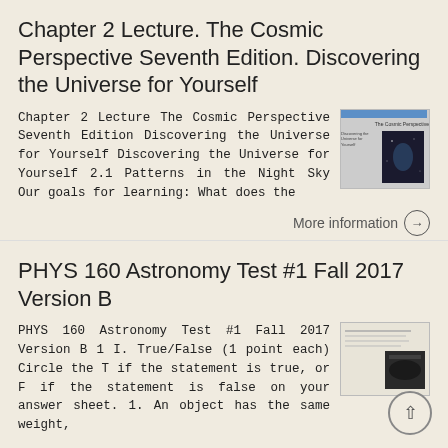Chapter 2 Lecture. The Cosmic Perspective Seventh Edition. Discovering the Universe for Yourself
Chapter 2 Lecture The Cosmic Perspective Seventh Edition Discovering the Universe for Yourself Discovering the Universe for Yourself 2.1 Patterns in the Night Sky Our goals for learning: What does the
[Figure (photo): Thumbnail of The Cosmic Perspective Seventh Edition book cover, showing a blue header bar, title text, and a dark space/astronomy image]
More information →
PHYS 160 Astronomy Test #1 Fall 2017 Version B
PHYS 160 Astronomy Test #1 Fall 2017 Version B 1 I. True/False (1 point each) Circle the T if the statement is true, or F if the statement is false on your answer sheet. 1. An object has the same weight,
[Figure (photo): Thumbnail of PHYS 160 Astronomy Test document, showing lined paper with text and a dark image]